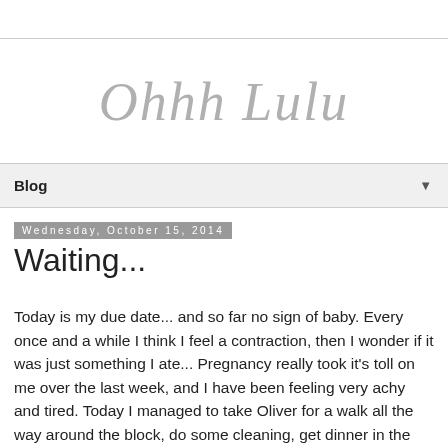Ohhh Lulu
Blog
Wednesday, October 15, 2014
Waiting...
Today is my due date... and so far no sign of baby. Every once and a while I think I feel a contraction, then I wonder if it was just something I ate... Pregnancy really took it's toll on me over the last week, and I have been feeling very achy and tired. Today I managed to take Oliver for a walk all the way around the block, do some cleaning, get dinner in the slow cooker, and ship off an order.  I also did a bit of sewing for the baby! I'm trying to keep myself occupied as much as